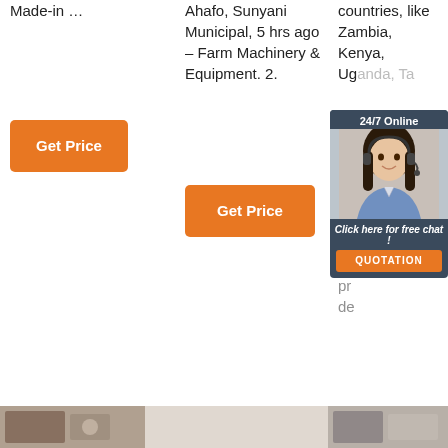Made-in …
Ahafo, Sunyani Municipal, 5 hrs ago – Farm Machinery & Equipment. 2.
countries, like Zambia, Kenya, Uganda, Tanzania, Morocco, Africa. 24/7 Online. Morocco, Africa. pr... de...
[Figure (screenshot): Orange 'Get Price' button (column 1)]
[Figure (screenshot): Orange 'Get Price' button (column 2)]
[Figure (screenshot): 24/7 Online chat widget overlay with customer service representative photo, 'Click here for free chat!' text and QUOTATION button]
[Figure (screenshot): Orange 'Get Price' button (column 3) with TOP badge]
[Figure (screenshot): Bottom thumbnail strip with two partial product images]